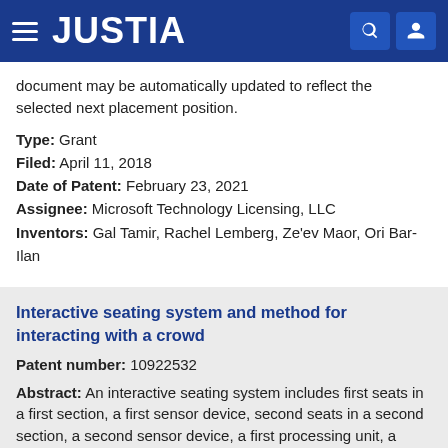JUSTIA
document may be automatically updated to reflect the selected next placement position.
Type: Grant
Filed: April 11, 2018
Date of Patent: February 23, 2021
Assignee: Microsoft Technology Licensing, LLC
Inventors: Gal Tamir, Rachel Lemberg, Ze'ev Maor, Ori Bar-Ilan
Interactive seating system and method for interacting with a crowd
Patent number: 10922532
Abstract: An interactive seating system includes first seats in a first section, a first sensor device, second seats in a second section, a second sensor device, a first processing unit, a second processing unit, and an output device. The first sensor device and the second